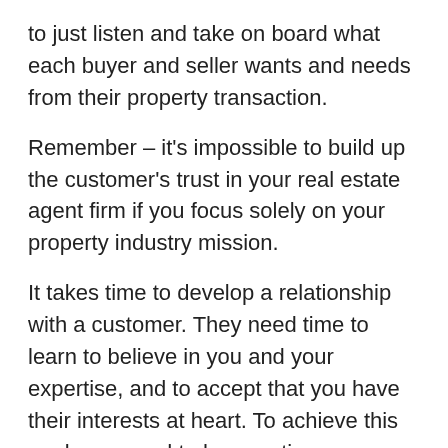to just listen and take on board what each buyer and seller wants and needs from their property transaction.
Remember – it's impossible to build up the customer's trust in your real estate agent firm if you focus solely on your property industry mission.
It takes time to develop a relationship with a customer. They need time to learn to believe in you and your expertise, and to accept that you have their interests at heart. To achieve this goal, you need to have patience.
Yes, of course, property selling is your ultimate goal, but part of that process involves listening